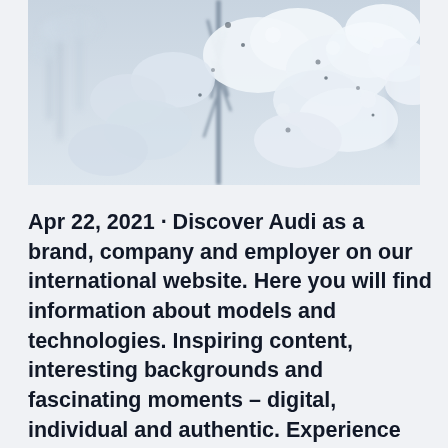[Figure (photo): Close-up photograph of snow-covered plant branches with a blue-grey winter background, frost and snow crystals visible on white/grey foliage.]
Apr 22, 2021 · Discover Audi as a brand, company and employer on our international website. Here you will find information about models and technologies. Inspiring content, interesting backgrounds and fascinating moments – digital, individual and authentic. Experience our vision of mobility and let